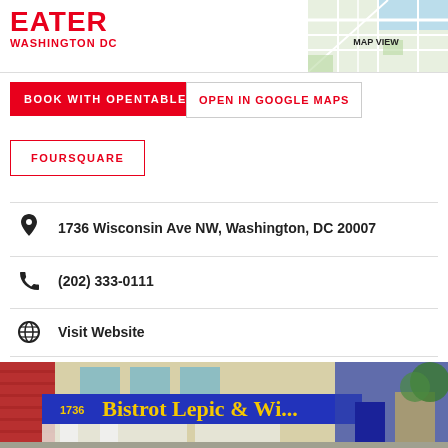EATER WASHINGTON DC
[Figure (map): Map view thumbnail in top right corner showing street map]
BOOK WITH OPENTABLE
OPEN IN GOOGLE MAPS
FOURSQUARE
1736 Wisconsin Ave NW, Washington, DC 20007
(202) 333-0111
Visit Website
[Figure (photo): Exterior photo of Bistrot Lepic & Wine restaurant with blue awning and yellow text reading 'Bistrot Lepic & Wine', storefront at 1736 with red brick on left side]